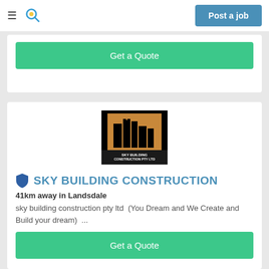Post a job
Get a Quote
[Figure (logo): Sky Building Construction Pty Ltd logo — black background with gold/orange building silhouette and company name text]
SKY BUILDING CONSTRUCTION
41km away in Landsdale
sky building construction pty ltd  (You Dream and We Create and Build your dream)  ...
Get a Quote